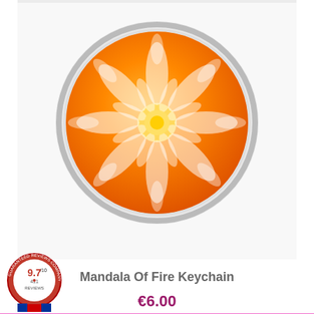[Figure (photo): Orange mandala keychain product photo on white background - circular orange and yellow glass mandala design in metal setting]
Mandala Of Fire Keychain
€6.00
Our store uses cookies to improve the user experience and we recommend that you accept their use to fully enjoy your browsing.  More information   customize cookies
I ACCEPT
[Figure (logo): Guaranteed Reviews Company badge showing rating 9.7/10 with 411 reviews, red white and blue circular badge with ribbon]